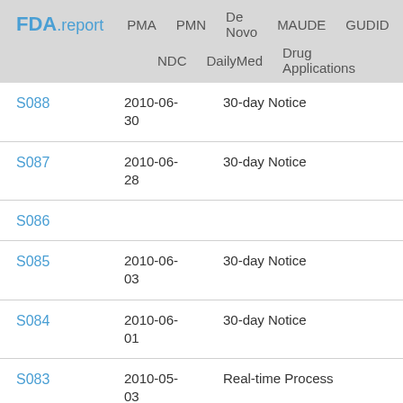FDA.report  PMA  PMN  De Novo  MAUDE  GUDID  NDC  DailyMed  Drug Applications
| ID | Date | Type |
| --- | --- | --- |
| S088 | 2010-06-30 | 30-day Notice |
| S087 | 2010-06-28 | 30-day Notice |
| S086 |  |  |
| S085 | 2010-06-03 | 30-day Notice |
| S084 | 2010-06-01 | 30-day Notice |
| S083 | 2010-05-03 | Real-time Process |